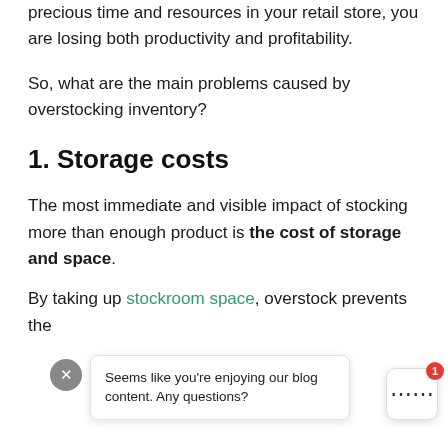precious time and resources in your retail store, you are losing both productivity and profitability.
So, what are the main problems caused by overstocking inventory?
1. Storage costs
The most immediate and visible impact of stocking more than enough product is the cost of storage and space.
By taking up stockroom space, overstock prevents the